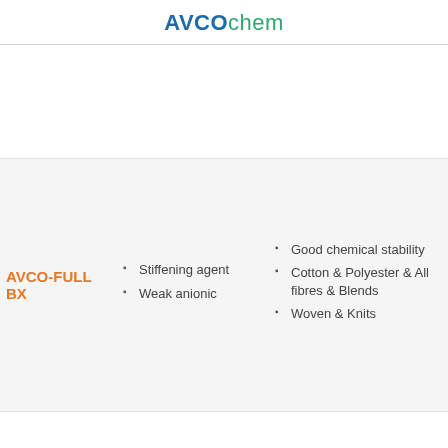AVCOchem
AVCO-FULL BX
Stiffening agent
Weak anionic
Good chemical stability
Cotton & Polyester & All fibres & Blends
Woven & Knits